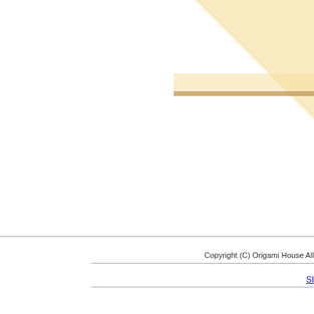[Figure (illustration): Decorative design element: a light orange/peach triangular shape in the top-right corner with a horizontal dark orange/gold bar and lighter orange band extending from the right edge, approximately at vertical center-upper area of the page.]
Copyright (C) Origami House All
SI